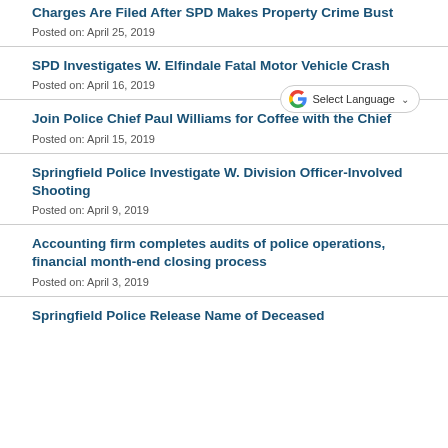Charges Are Filed After SPD Makes Property Crime Bust
Posted on: April 25, 2019
SPD Investigates W. Elfindale Fatal Motor Vehicle Crash
Posted on: April 16, 2019
Join Police Chief Paul Williams for Coffee with the Chief
Posted on: April 15, 2019
Springfield Police Investigate W. Division Officer-Involved Shooting
Posted on: April 9, 2019
Accounting firm completes audits of police operations, financial month-end closing process
Posted on: April 3, 2019
Springfield Police Release Name of Deceased